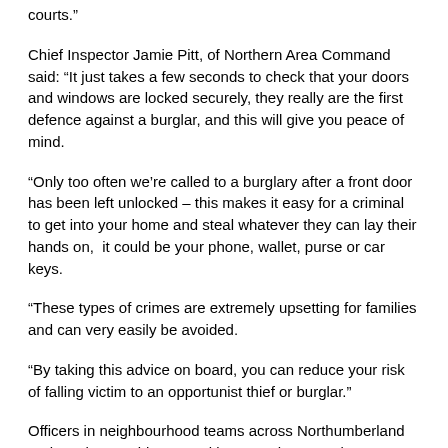courts."
Chief Inspector Jamie Pitt, of Northern Area Command said: “It just takes a few seconds to check that your doors and windows are locked securely, they really are the first defence against a burglar, and this will give you peace of mind.
“Only too often we’re called to a burglary after a front door has been left unlocked – this makes it easy for a criminal to get into your home and steal whatever they can lay their hands on,  it could be your phone, wallet, purse or car keys.
“These types of crimes are extremely upsetting for families and can very easily be avoided.
“By taking this advice on board, you can reduce your risk of falling victim to an opportunist thief or burglar.”
Officers in neighbourhood teams across Northumberland and North Tyneside are making sure they patrol areas which have previously had burglaries reported to help prevent further